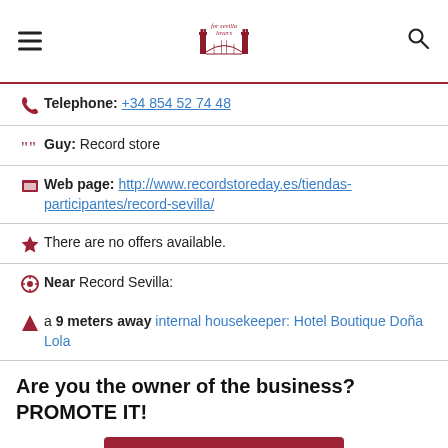for sevilla lovers
Telephone: +34 854 52 74 48
Guy: Record store
Web page: http://www.recordstoreday.es/tiendas-participantes/record-sevilla/
There are no offers available.
Near Record Sevilla:
a 9 meters away internal housekeeper: Hotel Boutique Doña Lola
Are you the owner of the business? PROMOTE IT!
BE THE 1ST IN THE RANKING